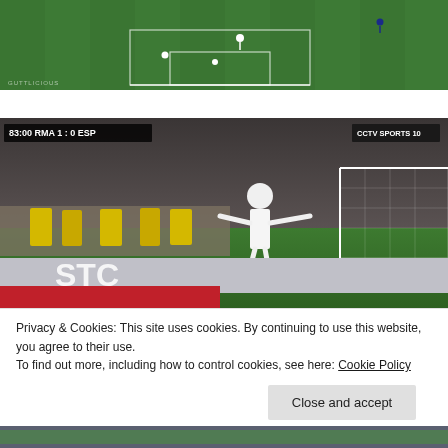[Figure (photo): Aerial view of a football (soccer) pitch with players visible on the green field. Watermark text 'GUTTLICIOUS' at bottom left.]
[Figure (photo): Football match screenshot showing a Real Madrid player (in white) celebrating near the goal with arms outstretched. Crowd visible in background wearing yellow high-vis jackets. Score bug shows '83:00 RMA 1:0 ESP'. CCTV Sports logo in top right. 'STC' advertisement board visible.]
Privacy & Cookies: This site uses cookies. By continuing to use this website, you agree to their use.
To find out more, including how to control cookies, see here: Cookie Policy
[Figure (screenshot): Partial view of another football match image at the very bottom of the page.]